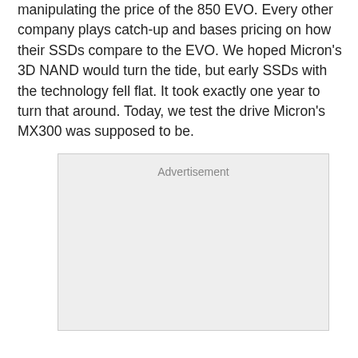manipulating the price of the 850 EVO. Every other company plays catch-up and bases pricing on how their SSDs compare to the EVO. We hoped Micron's 3D NAND would turn the tide, but early SSDs with the technology fell flat. It took exactly one year to turn that around. Today, we test the drive Micron's MX300 was supposed to be.
[Figure (other): Advertisement placeholder box with light gray background and the word 'Advertisement' at the top center]